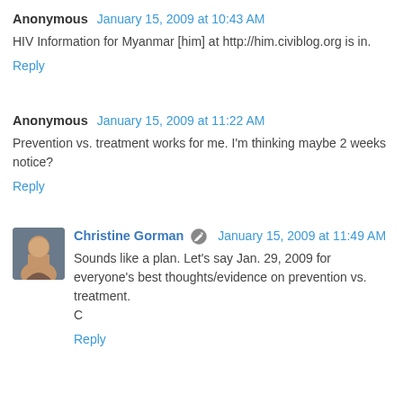Anonymous  January 15, 2009 at 10:43 AM
HIV Information for Myanmar [him] at http://him.civiblog.org is in.
Reply
Anonymous  January 15, 2009 at 11:22 AM
Prevention vs. treatment works for me. I'm thinking maybe 2 weeks notice?
Reply
Christine Gorman  January 15, 2009 at 11:49 AM
Sounds like a plan. Let's say Jan. 29, 2009 for everyone's best thoughts/evidence on prevention vs. treatment.
C
Reply